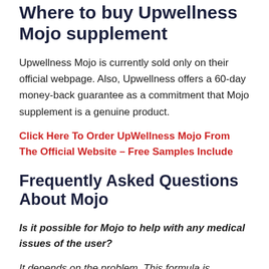Where to buy Upwellness Mojo supplement
Upwellness Mojo is currently sold only on their official webpage. Also, Upwellness offers a 60-day money-back guarantee as a commitment that Mojo supplement is a genuine product.
Click Here To Order UpWellness Mojo From The Official Website – Free Samples Include
Frequently Asked Questions About Mojo
Is it possible for Mojo to help with any medical issues of the user?
It depends on the problem. This formula is primarily associated with the way that it relieves tiredness and